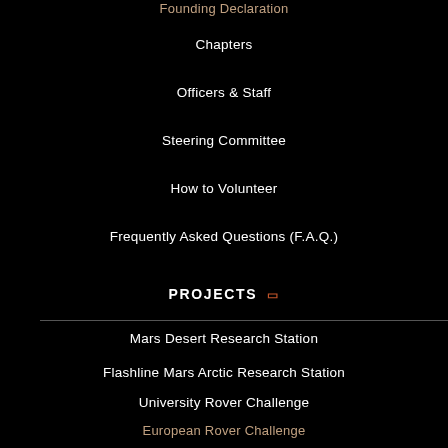Founding Declaration
Chapters
Officers & Staff
Steering Committee
How to Volunteer
Frequently Asked Questions (F.A.Q.)
PROJECTS
Mars Desert Research Station
Flashline Mars Arctic Research Station
University Rover Challenge
European Rover Challenge
MarsVR
Marspedia
EDUCATION & OUTREACH